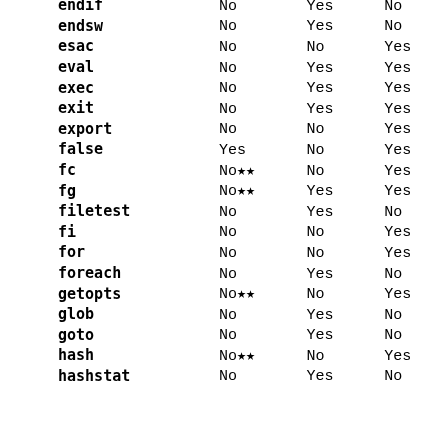| Command | Col1 | Col2 | Col3 |
| --- | --- | --- | --- |
| endif | No | Yes | No |
| endsw | No | Yes | No |
| esac | No | No | Yes |
| eval | No | Yes | Yes |
| exec | No | Yes | Yes |
| exit | No | Yes | Yes |
| export | No | No | Yes |
| false | Yes | No | Yes |
| fc | No** | No | Yes |
| fg | No** | Yes | Yes |
| filetest | No | Yes | No |
| fi | No | No | Yes |
| for | No | No | Yes |
| foreach | No | Yes | No |
| getopts | No** | No | Yes |
| glob | No | Yes | No |
| goto | No | Yes | No |
| hash | No** | No | Yes |
| hashstat | No | Yes | No |